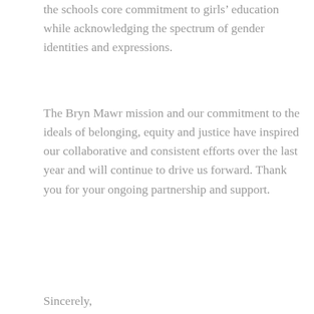the schools core commitment to girls' education while acknowledging the spectrum of gender identities and expressions.
The Bryn Mawr mission and our commitment to the ideals of belonging, equity and justice have inspired our collaborative and consistent efforts over the last year and will continue to drive us forward. Thank you for your ongoing partnership and support.
Sincerely,